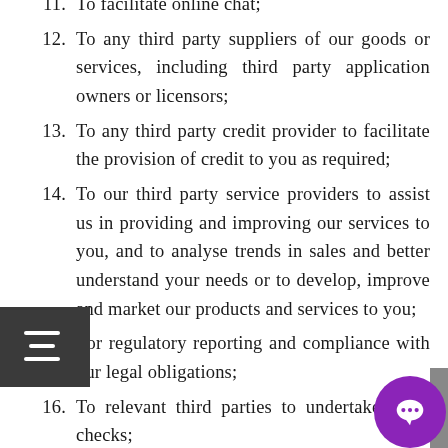11. To facilitate online chat;
12. To any third party suppliers of our goods or services, including third party application owners or licensors;
13. To any third party credit provider to facilitate the provision of credit to you as required;
14. To our third party service providers to assist us in providing and improving our services to you, and to analyse trends in sales and better understand your needs or to develop, improve and market our products and services to you;
15. For regulatory reporting and compliance with our legal obligations;
16. To relevant third parties to undertake fraud checks;
17. To perform administrative and operational tasks (including risk management, systems